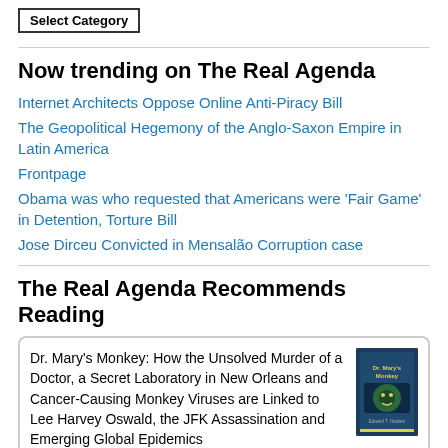Select Category
Now trending on The Real Agenda
Internet Architects Oppose Online Anti-Piracy Bill
The Geopolitical Hegemony of the Anglo-Saxon Empire in Latin America
Frontpage
Obama was who requested that Americans were 'Fair Game' in Detention, Torture Bill
Jose Dirceu Convicted in Mensalão Corruption case
The Real Agenda Recommends Reading
Dr. Mary's Monkey: How the Unsolved Murder of a Doctor, a Secret Laboratory in New Orleans and Cancer-Causing Monkey Viruses are Linked to Lee Harvey Oswald, the JFK Assassination and Emerging Global Epidemics
by Edward T. Haslam